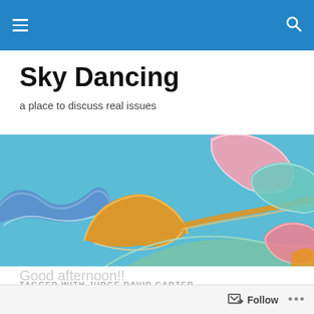Sky Dancing — navigation bar with menu and search icons
Sky Dancing
a place to discuss real issues
[Figure (illustration): Colorful painting of decorative swirling clouds in blue, orange, pink, and teal on a light blue sky background — banner header image for the Sky Dancing blog]
TAGGED WITH JUDGE DAVID CARTER
Monday Reads
Good afternoon!! — Follow — ...